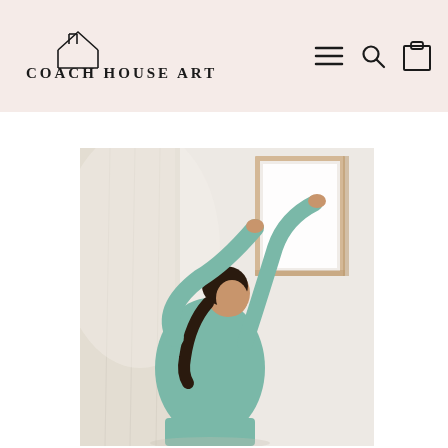Coach House Art — navigation header with logo, menu, search, and cart icons
[Figure (photo): A woman with dark hair in a ponytail, wearing a teal/mint long-sleeve top, hanging a light wood-framed picture on a white wall. She is reaching up with both hands to position the frame. A sheer curtain is visible in the background on the left.]